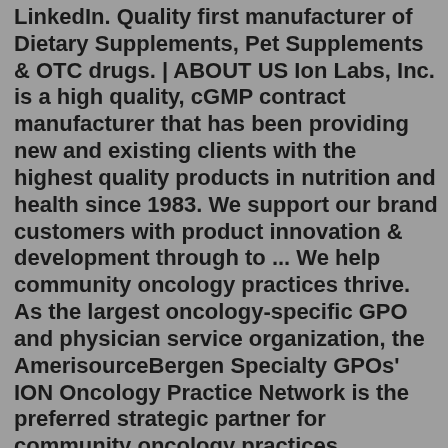LinkedIn. Quality first manufacturer of Dietary Supplements, Pet Supplements & OTC drugs. | ABOUT US Ion Labs, Inc. is a high quality, cGMP contract manufacturer that has been providing new and existing clients with the highest quality products in nutrition and health since 1983. We support our brand customers with product innovation & development through to ... We help community oncology practices thrive. As the largest oncology-specific GPO and physician service organization, the AmerisourceBergen Specialty GPOs' ION Oncology Practice Network is the preferred strategic partner for community oncology practices nationwide. With over 20 years of experience, you can rely on us for more than GPO contracts. The Ion GeneStudio S5 System is a semiconductor-based next-generation sequencing (NGS) system that enables simple targeted sequencing workflows. The Ion GeneStudio S5 System is optimized to provide affordability for labs focused on smaller panels and lower sequencing